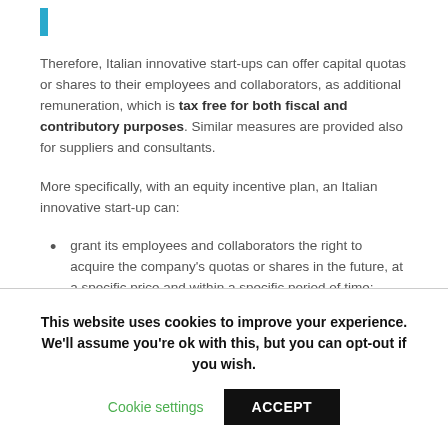[Figure (other): Blue vertical bar accent/logo indicator]
Therefore, Italian innovative start-ups can offer capital quotas or shares to their employees and collaborators, as additional remuneration, which is tax free for both fiscal and contributory purposes. Similar measures are provided also for suppliers and consultants.
More specifically, with an equity incentive plan, an Italian innovative start-up can:
grant its employees and collaborators the right to acquire the company's quotas or shares in the future, at a specific price and within a specific period of time; and/or
This website uses cookies to improve your experience. We'll assume you're ok with this, but you can opt-out if you wish.
Cookie settings   ACCEPT